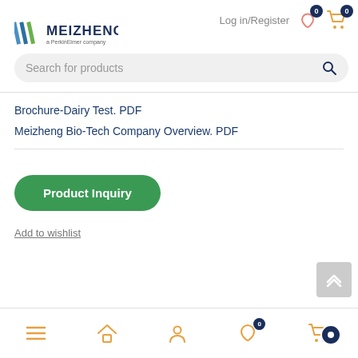Log in/Register | Search for products | Meizheng - a PerkinElmer company logo
Brochure-Dairy Test. PDF
Meizheng Bio-Tech Company Overview. PDF
Product Inquiry
Add to wishlist
Bottom navigation bar: menu, home, account, wishlist (0), cart/chat